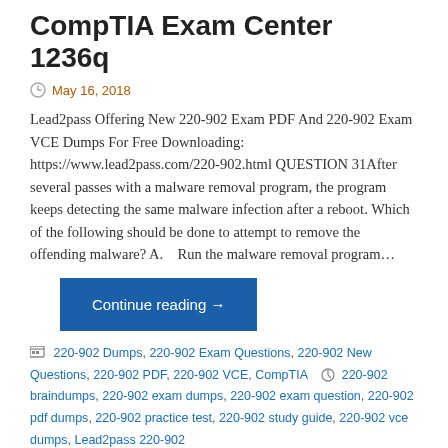CompTIA Exam Center 1236q
May 16, 2018
Lead2pass Offering New 220-902 Exam PDF And 220-902 Exam VCE Dumps For Free Downloading: https://www.lead2pass.com/220-902.html QUESTION 31After several passes with a malware removal program, the program keeps detecting the same malware infection after a reboot. Which of the following should be done to attempt to remove the offending malware? A.    Run the malware removal program…
Continue reading →
220-902 Dumps, 220-902 Exam Questions, 220-902 New Questions, 220-902 PDF, 220-902 VCE, CompTIA   220-902 braindumps, 220-902 exam dumps, 220-902 exam question, 220-902 pdf dumps, 220-902 practice test, 220-902 study guide, 220-902 vce dumps, Lead2pass 220-902